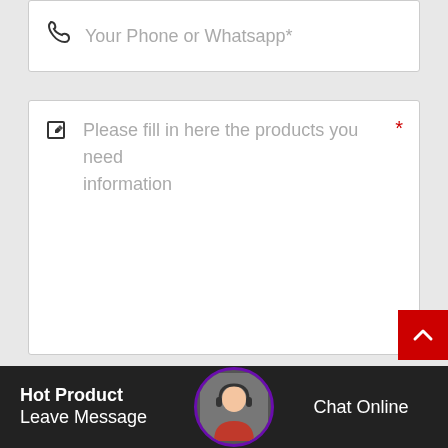Your Phone or Whatsapp*
Please fill in here the products you need information
Send Now!
Hot Product | Leave Message | Chat Online